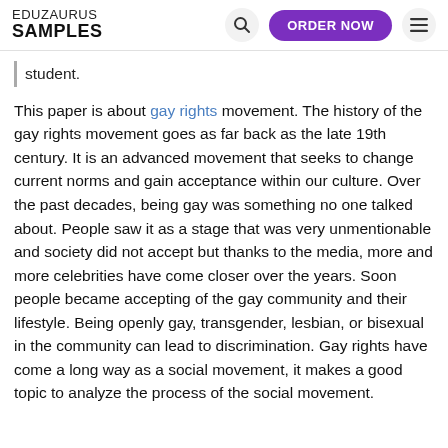EDUZAURUS SAMPLES
student.
This paper is about gay rights movement. The history of the gay rights movement goes as far back as the late 19th century. It is an advanced movement that seeks to change current norms and gain acceptance within our culture. Over the past decades, being gay was something no one talked about. People saw it as a stage that was very unmentionable and society did not accept but thanks to the media, more and more celebrities have come closer over the years. Soon people became accepting of the gay community and their lifestyle. Being openly gay, transgender, lesbian, or bisexual in the community can lead to discrimination. Gay rights have come a long way as a social movement, it makes a good topic to analyze the process of the social movement.